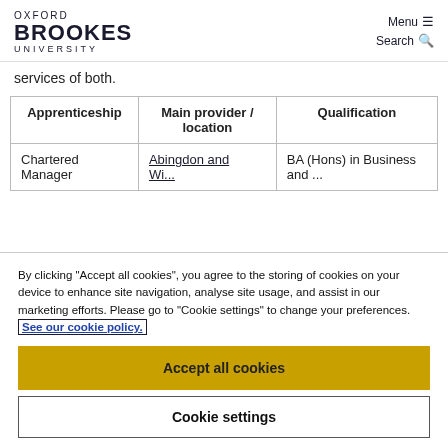OXFORD BROOKES UNIVERSITY | Menu ≡ | Search 🔍
services of both.
| Apprenticeship | Main provider / location | Qualification |
| --- | --- | --- |
| Chartered Manager | Abingdon and ... | BA (Hons) in Business and ... |
By clicking "Accept all cookies", you agree to the storing of cookies on your device to enhance site navigation, analyse site usage, and assist in our marketing efforts. Please go to "Cookie settings" to change your preferences. See our cookie policy.
Accept all cookies
Cookie settings